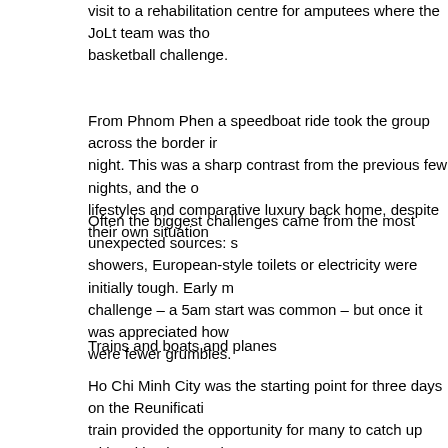visit to a rehabilitation centre for amputees where the JoLt team was the basketball challenge.
From Phnom Phen a speedboat ride took the group across the border in night. This was a sharp contrast from the previous few nights, and the o lifestyles and comparative luxury back home, despite their own situation
Often the biggest challenges came from the most unexpected sources: s showers, European-style toilets or electricity were initially tough. Early m challenge – a 5am start was common – but once it was appreciated how were fewer grumbles.
Trains and boats and planes
Ho Chi Minh City was the starting point for three days on the Reunificati train provided the opportunity for many to catch up with writing home, pl and getting to know one another better. Hoi An, a world heritage site, is tailors in Vietnam and many took the opportunity to have clothes special dusty travellers to beautiful silk-clad individuals was for many a huge co
A further train journey found the group in Hanoi – a strange mix of weste streets filled with local people in traditional attire which was explored as hosted by the British Council was an opportunity to meet local disabled